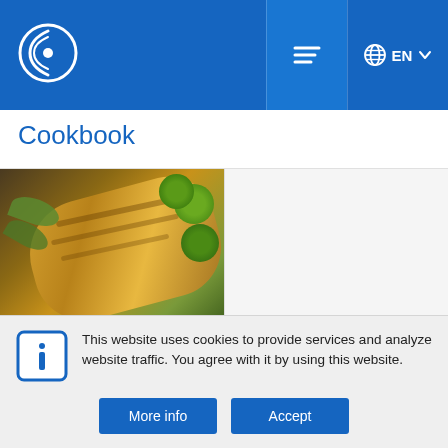[Figure (screenshot): Website header with blue background, stylized C logo on left, hamburger menu icon in center-right, globe icon with EN and dropdown arrow on far right]
Cookbook
[Figure (photo): Photo of Monkfish Wellington — golden pastry with Brussels sprouts and herbs]
Fish
Monkfish Wellington
Fish
Monkfish Wellington
This website uses cookies to provide services and analyze website traffic. You agree with it by using this website.